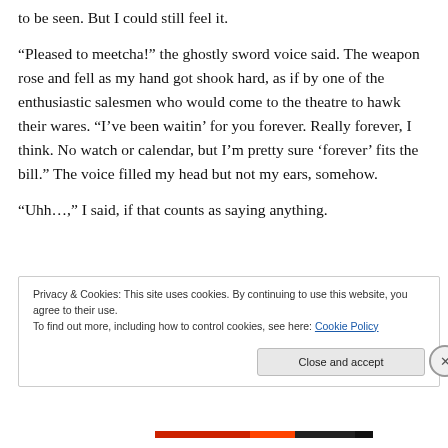to be seen. But I could still feel it.
“Pleased to meetcha!” the ghostly sword voice said. The weapon rose and fell as my hand got shook hard, as if by one of the enthusiastic salesmen who would come to the theatre to hawk their wares. “I’ve been waitin’ for you forever. Really forever, I think. No watch or calendar, but I’m pretty sure ‘forever’ fits the bill.” The voice filled my head but not my ears, somehow.
“Uhh…,” I said, if that counts as saying anything.
Privacy & Cookies: This site uses cookies. By continuing to use this website, you agree to their use.
To find out more, including how to control cookies, see here: Cookie Policy